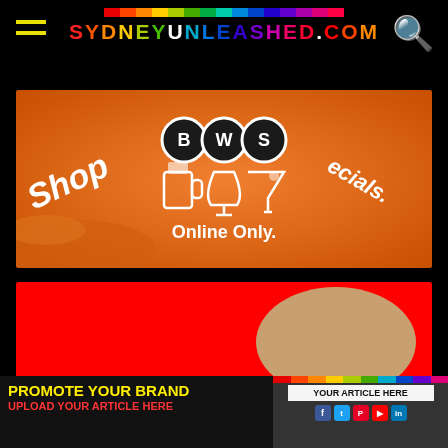[Figure (screenshot): SydneyUnleashed.com website header with rainbow-colored logo text, hamburger menu icon on left, and search icon on right, on black background]
[Figure (photo): BWS (Beer Wine Spirits) advertisement with orange background showing BWS logo circles, beer mug, wine glass, and cocktail glass icons, with text 'Shop' on left, 'specials.' on right, and 'Online Only.' below the icons]
[Figure (photo): Red background advertisement showing a hand holding a sign that reads 'YOUR AD HERE' in bold black text]
[Figure (infographic): Bottom banner with yellow text 'PROMOTE YOUR BRAND' and red text 'UPLOAD YOUR ARTICLE HERE' on left, and on right a phone/device image with 'YOUR ARTICLE HERE' text and social media sharing icons below]